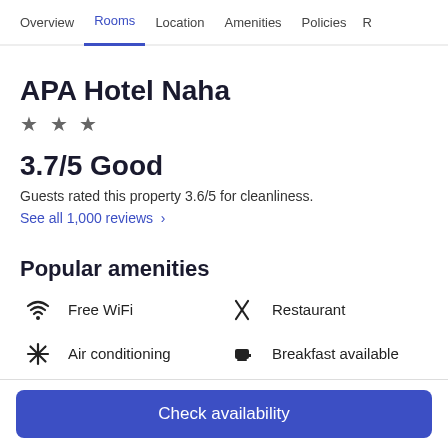Overview | Rooms | Location | Amenities | Policies | R
APA Hotel Naha
★ ★ ★
3.7/5 Good
Guests rated this property 3.6/5 for cleanliness.
See all 1,000 reviews >
Popular amenities
Free WiFi
Restaurant
Air conditioning
Breakfast available
Spa
Parking available
Check availability